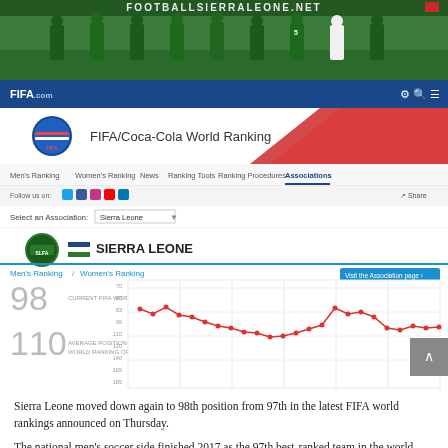[Figure (photo): Photo banner showing Sierra Leone national football team players in green jerseys with FOOTBALLSIERRALEONE.NET header]
[Figure (screenshot): Screenshot of FIFA.com FIFA/Coca-Cola World Ranking page showing Sierra Leone at 98th position with a line chart of historical rankings. Stats show 98 current FIFA world ranking and 110 average position since FIFA World Ranking creation.]
Sierra Leone moved down again to 98th position from 97th in the latest FIFA world rankings announced on Thursday.
The national men's soccer side finished 2017 as the 97th best-ranked team in the world.
Sierra Leone best ever ranking came in August 2014, when they were